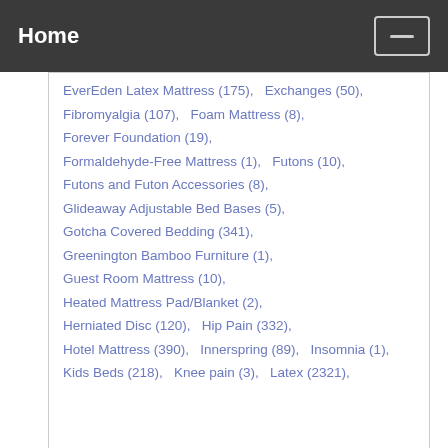Home
EverEden Latex Mattress (175),   Exchanges (50),
Fibromyalgia (107),   Foam Mattress (8),
Forever Foundation (19),
Formaldehyde-Free Mattress (1),   Futons (10),
Futons and Futon Accessories (8),
Glideaway Adjustable Bed Bases (5),
Gotcha Covered Bedding (341),
Greenington Bamboo Furniture (1),
Guest Room Mattress (10),
Heated Mattress Pad/Blanket (2),
Herniated Disc (120),   Hip Pain (332),
Hotel Mattress (390),   Innerspring (89),   Insomnia (1),
Kids Beds (218),   Knee pain (3),   Latex (2321),